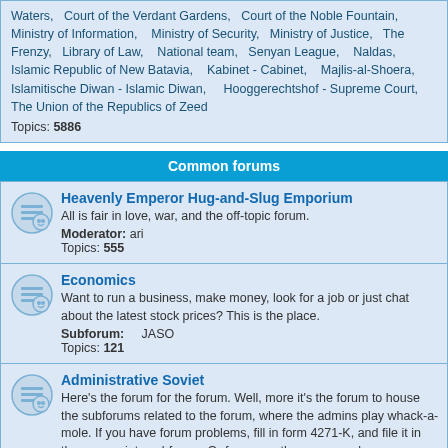Waters, Court of the Verdant Gardens, Court of the Noble Fountain, Ministry of Information, Ministry of Security, Ministry of Justice, The Frenzy, Library of Law, National team, Senyan League, Naldas, Islamic Republic of New Batavia, Kabinet - Cabinet, Majlis-al-Shoera, Islamitische Diwan - Islamic Diwan, Hooggerechtshof - Supreme Court, The Union of the Republics of Zeed Topics: 5886
Common forums
Heavenly Emperor Hug-and-Slug Emporium
All is fair in love, war, and the off-topic forum.
Moderator: ari
Topics: 555
Economics
Want to run a business, make money, look for a job or just chat about the latest stock prices? This is the place.
Subforum: JASO
Topics: 121
Administrative Soviet
Here's the forum for the forum. Well, more it's the forum to house the subforums related to the forum, where the admins play whack-a-mole. If you have forum problems, fill in form 4271-K, and file it in the appropriate subforum. Or forum, as the case may be.
Subforum: Links
Topics: 915
Internal Archives
Topics: 2793
LOGIN • REGISTER